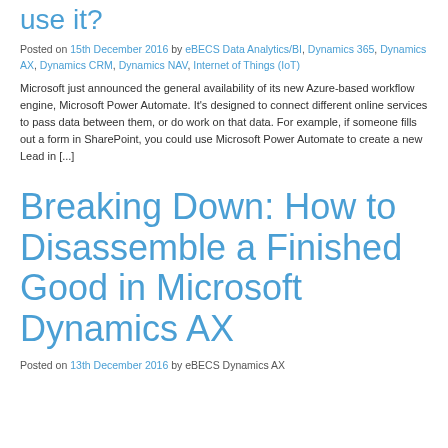use it?
Posted on 15th December 2016 by eBECS Data Analytics/BI, Dynamics 365, Dynamics AX, Dynamics CRM, Dynamics NAV, Internet of Things (IoT)
Microsoft just announced the general availability of its new Azure-based workflow engine, Microsoft Power Automate. It's designed to connect different online services to pass data between them, or do work on that data. For example, if someone fills out a form in SharePoint, you could use Microsoft Power Automate to create a new Lead in [...]
Breaking Down: How to Disassemble a Finished Good in Microsoft Dynamics AX
Posted on 13th December 2016 by eBECS Dynamics AX